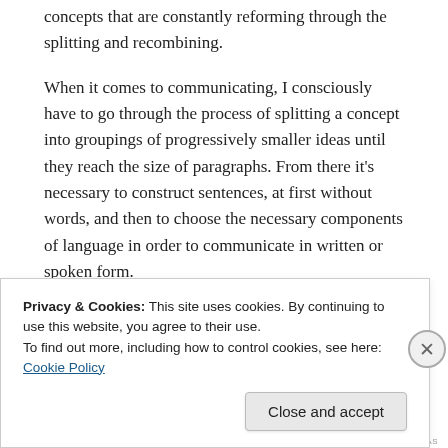concepts that are constantly reforming through the splitting and recombining.
When it comes to communicating, I consciously have to go through the process of splitting a concept into groupings of progressively smaller ideas until they reach the size of paragraphs. From there it’s necessary to construct sentences, at first without words, and then to choose the necessary components of language in order to communicate in written or spoken form.
I reverse the procedure when taking in what someone has said or written. While the metaphor of bubble seems
Privacy & Cookies: This site uses cookies. By continuing to use this website, you agree to their use.
To find out more, including how to control cookies, see here: Cookie Policy
Close and accept